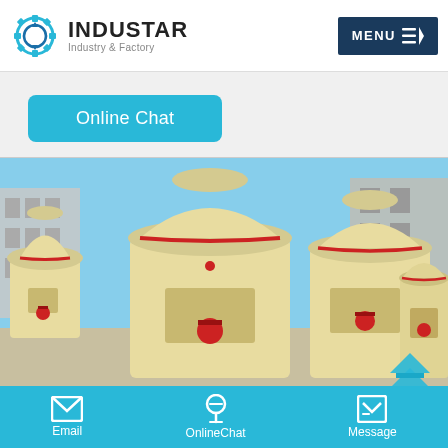[Figure (logo): Industar Industry & Factory logo with gear icon]
MENU
Online Chat
[Figure (photo): Industrial grinding mill machines (cone/Raymond mills) in cream/yellow color, multiple units in a factory yard with buildings in background]
Email
OnlineChat
Message